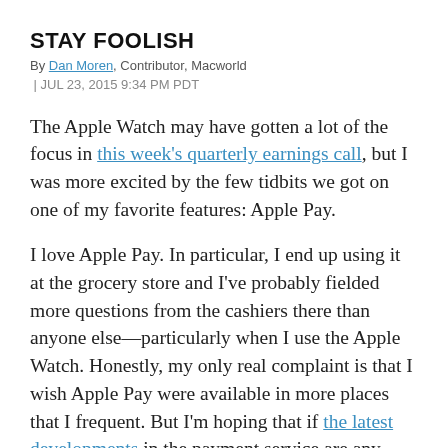STAY FOOLISH
By Dan Moren, Contributor, Macworld | JUL 23, 2015 9:34 PM PDT
The Apple Watch may have gotten a lot of the focus in this week's quarterly earnings call, but I was more excited by the few tidbits we got on one of my favorite features: Apple Pay.
I love Apple Pay. In particular, I end up using it at the grocery store and I've probably fielded more questions from the cashiers there than anyone else—particularly when I use the Apple Watch. Honestly, my only real complaint is that I wish Apple Pay were available in more places that I frequent. But I'm hoping that if the latest developments in the payment service are any indication, Apple Pay is still